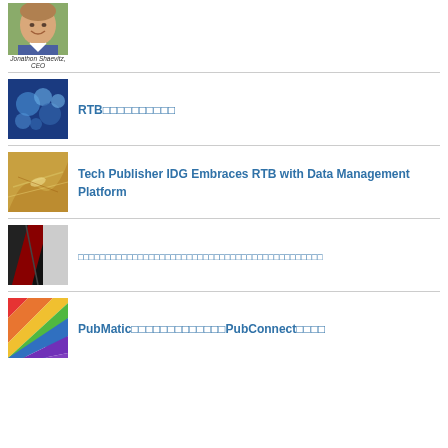[Figure (photo): Headshot of a smiling man in a suit]
Jonathon Shaevitz, CEO
[Figure (photo): Blue bokeh abstract background]
RTB□□□□□□□□□□
[Figure (photo): Yellow-orange nature/plant close-up]
Tech Publisher IDG Embraces RTB with Data Management Platform
[Figure (photo): Black, white and red diagonal stripes abstract]
□□□□□□□□□□□□□□□□□□□□□□□□□□□□□□□□□□□□□□□□□□□□□
[Figure (photo): Rainbow colored diagonal stripes]
PubMatic□□□□□□□□□□□□□PubConnect□□□□